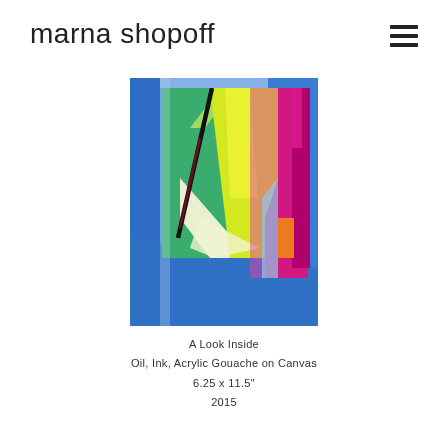marna shopoff
[Figure (illustration): Abstract painting titled 'A Look Inside' - colorful geometric shapes on a blue background including green triangles, yellow-green areas, bright pink/magenta vertical strips, orange rectangle, light blue area, and a black diagonal line.]
A Look Inside
Oil, Ink, Acrylic Gouache on Canvas
6.25 x 11.5"
2015